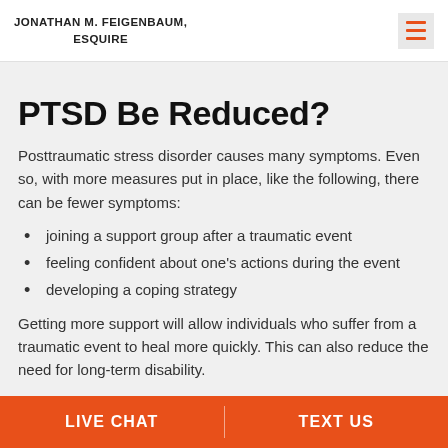JONATHAN M. FEIGENBAUM, ESQUIRE
PTSD Be Reduced?
Posttraumatic stress disorder causes many symptoms. Even so, with more measures put in place, like the following, there can be fewer symptoms:
joining a support group after a traumatic event
feeling confident about one's actions during the event
developing a coping strategy
Getting more support will allow individuals who suffer from a traumatic event to heal more quickly. This can also reduce the need for long-term disability.
LIVE CHAT   TEXT US